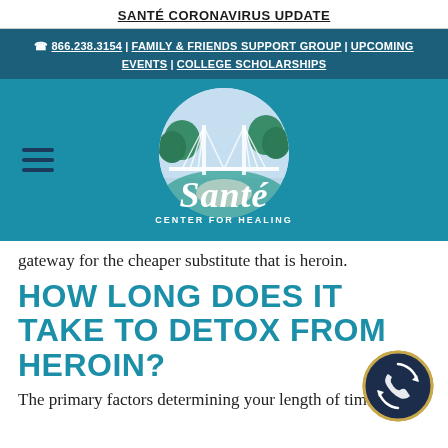SANTÉ CORONAVIRUS UPDATE
☎ 866.238.3154 | FAMILY & FRIENDS SUPPORT GROUP | UPCOMING EVENTS | COLLEGE SCHOLARSHIPS
[Figure (logo): Santé Center for Healing logo — circular emblem with stylized bridge, trees, and sky, with cursive 'Santé' text and 'CENTER FOR HEALING' below, on teal background with hamburger menu icon to the left]
gateway for the cheaper substitute that is heroin.
HOW LONG DOES IT TAKE TO DETOX FROM HEROIN?
The primary factors determining your length of time